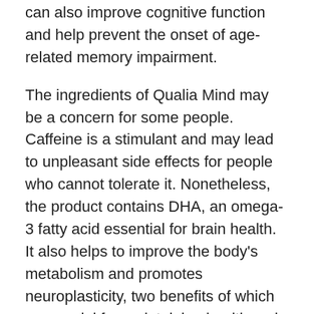can also improve cognitive function and help prevent the onset of age-related memory impairment.
The ingredients of Qualia Mind may be a concern for some people. Caffeine is a stimulant and may lead to unpleasant side effects for people who cannot tolerate it. Nonetheless, the product contains DHA, an omega-3 fatty acid essential for brain health. It also helps to improve the body's metabolism and promotes neuroplasticity, two benefits of which are crucial for maintaining health and functioning. Manufacturer recommends seven tablets taken in the morning.
Qualia Mind contains Ginkgo biloba leaf extract,